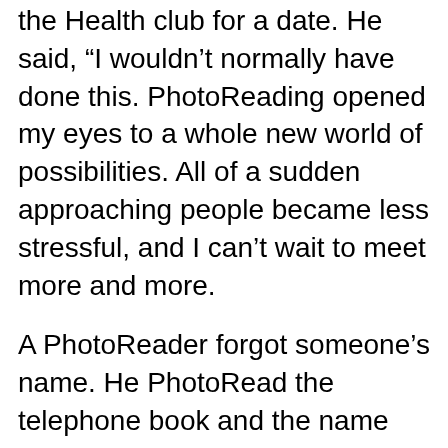the Health club for a date. He said, “I wouldn’t normally have done this. PhotoReading opened my eyes to a whole new world of possibilities. All of a sudden approaching people became less stressful, and I can’t wait to meet more and more.
A PhotoReader forgot someone’s name. He PhotoRead the telephone book and the name immediately came to him seconds after PhotoReading the page it was on.
Keep yourself healthy!
A male PhotoReader used his skills to PhotoRead a number of books about